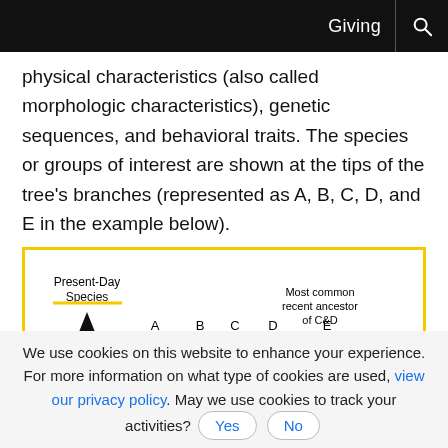Giving
physical characteristics (also called morphologic characteristics), genetic sequences, and behavioral traits. The species or groups of interest are shown at the tips of the tree's branches (represented as A, B, C, D, and E in the example below).
[Figure (illustration): A phylogenetic tree diagram showing Present-Day Species (with an upward arrow), branches labeled A, B, C, D, E at the tips, a dot marking the Most common recent ancestor of C&D with an arrow pointing to it, and F (extinct) shown as a T-shaped branch on the right.]
We use cookies on this website to enhance your experience. For more information on what type of cookies are used, view our privacy policy. May we use cookies to track your activities? Yes No